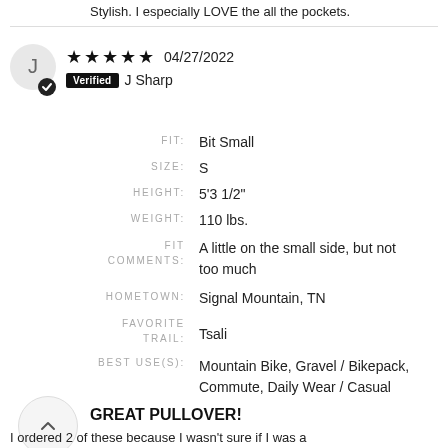Stylish. I especially LOVE the all the pockets.
04/27/2022 Verified J Sharp
FIT: Bit Small
SIZE: S
HEIGHT: 5'3 1/2"
WEIGHT: 110 lbs.
FIT COMMENTS: A little on the small side, but not too much
HOMETOWN: Signal Mountain, TN
FAVORITE TRAIL: Tsali
BEST USE(S): Mountain Bike, Gravel / Bikepack, Commute, Daily Wear / Casual
GREAT PULLOVER!
I ordered 2 of these because I wasn't sure if I was a